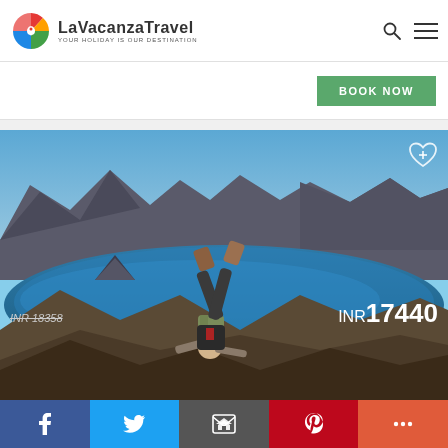[Figure (logo): LaVacanzaTravel logo with colorful pinwheel icon and text 'YOUR HOLIDAY IS OUR DESTINATION']
BOOK NOW
[Figure (photo): A person doing a handstand on a rocky outcrop overlooking a blue crater lake surrounded by dramatic volcanic mountains under a clear blue sky]
INR 18358
INR 17440
[Figure (infographic): Social sharing bar with Facebook, Twitter, Email, Pinterest, and More (+) buttons]